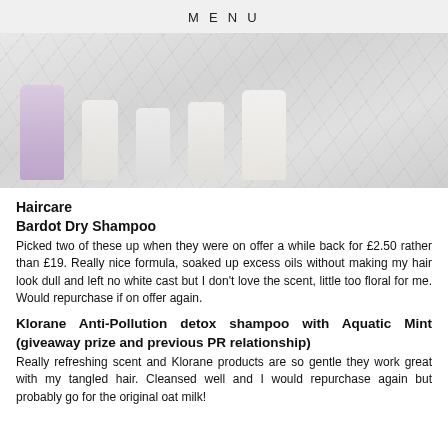MENU
[Figure (photo): Photo of several haircare product bottles including a lavender Bardot dry shampoo and multiple white Olaplex-style bottles laid on a white marble surface]
Haircare
Bardot Dry Shampoo
Picked two of these up when they were on offer a while back for £2.50 rather than £19. Really nice formula, soaked up excess oils without making my hair look dull and left no white cast but I don't love the scent, little too floral for me. Would repurchase if on offer again.
Klorane Anti-Pollution detox shampoo with Aquatic Mint (giveaway prize and previous PR relationship)
Really refreshing scent and Klorane products are so gentle they work great with my tangled hair. Cleansed well and I would repurchase again but probably go for the original oat milk!